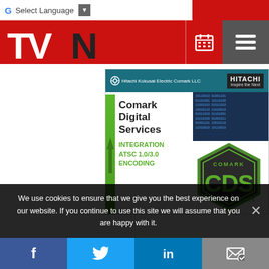TVN - Select Language | TV News Check website header with calendar and menu icons
[Figure (screenshot): Hitachi Kokusai Electric Comark LLC advertisement banner for Comark Digital Services featuring integration, ATSC 1.0/3.0, and encoding services with CDS logo badge]
We use cookies to ensure that we give you the best experience on our website. If you continue to use this site we will assume that you are happy with it.
Social share buttons: Facebook, Twitter, LinkedIn, Email